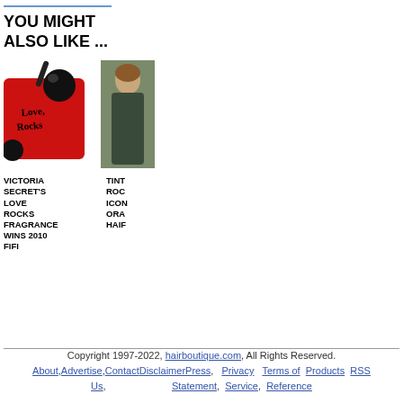YOU MIGHT ALSO LIKE ...
[Figure (photo): Photo of Victoria Secret Love Rocks fragrance bottle - red velvet perfume bottle with black pump]
[Figure (photo): Photo partially visible - appears to be a person, truncated on right edge]
VICTORIA SECRET'S LOVE ROCKS FRAGRANCE WINS 2010 FIFI
TINT ROC ICON ORA HAIF
Copyright 1997-2022, hairboutique.com, All Rights Reserved. About, Advertise, Contact Disclaimer Press, Privacy Statement, Terms of Service, Products Reference, RSS Us,